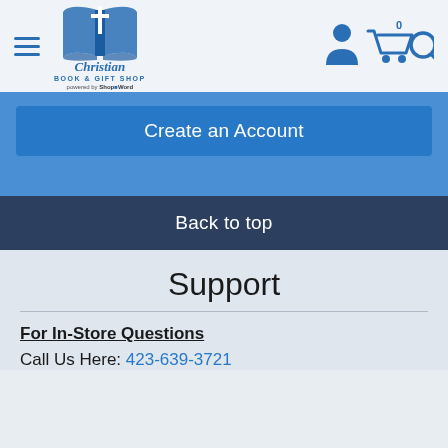[Figure (logo): Christian Book & Gift Shop logo with open book and cross icon, powered by ShopTheWord]
[Figure (infographic): User account icon, shopping cart with 0 items badge, and search magnifier icon in blue]
Create an Account
Back to top
Support
For In-Store Questions
Call Us Here: 423-639-3721